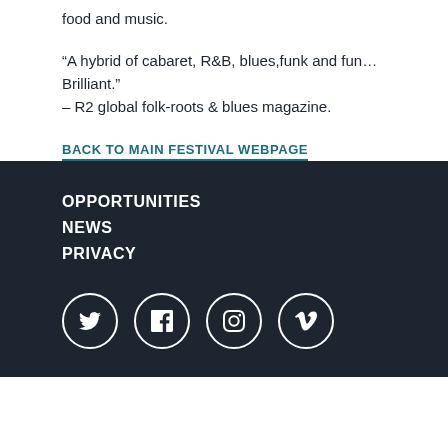food and music.
“A hybrid of cabaret, R&B, blues,funk and fun…Brilliant.” – R2 global folk-roots & blues magazine.
BACK TO MAIN FESTIVAL WEBPAGE
OPPORTUNITIES
NEWS
PRIVACY
[Figure (illustration): Social media icons in white circles on dark background: Twitter, Facebook, Instagram, Vimeo]